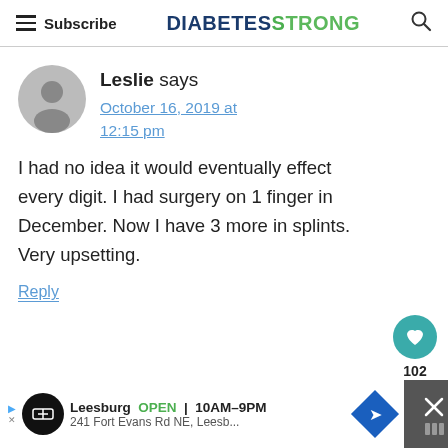Subscribe | DIABETESTRONG
Leslie says
October 16, 2019 at 12:15 pm
I had no idea it would eventually effect every digit. I had surgery on 1 finger in December. Now I have 3 more in splints. Very upsetting.
Reply